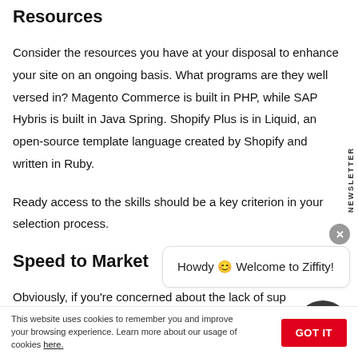Resources
Consider the resources you have at your disposal to enhance your site on an ongoing basis. What programs are they well versed in? Magento Commerce is built in PHP, while SAP Hybris is built in Java Spring. Shopify Plus is in Liquid, an open-source template language created by Shopify and written in Ruby.
Ready access to the skills should be a key criterion in your selection process.
Speed to Market
Obviously, if you're concerned about the lack of sup
[Figure (screenshot): Chat widget overlay showing 'Howdy 😊 Welcome to Ziffity!' message bubble with close button and dark avatar]
This website uses cookies to remember you and improve your browsing experience. Learn more about our usage of cookies here.